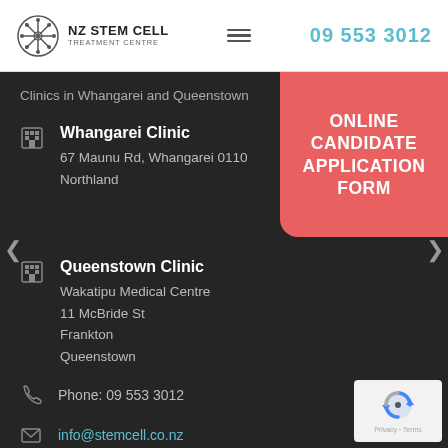[Figure (logo): NZ Stem Cell Treatment Centre logo with circular snowflake/cell icon and text]
09 553 3012
Clinics in Whangarei and Queenstown
ONLINE CANDIDATE APPLICATION FORM
Whangarei Clinic
67 Maunu Rd, Whangarei 0110
Northland
Queenstown Clinic
Wakatipu Medical Centre
11 McBride St
Frankton
Queenstown
Phone: 09 553 3012
info@stemcell.co.nz
[Figure (logo): Google reCAPTCHA badge with Privacy and Terms links]